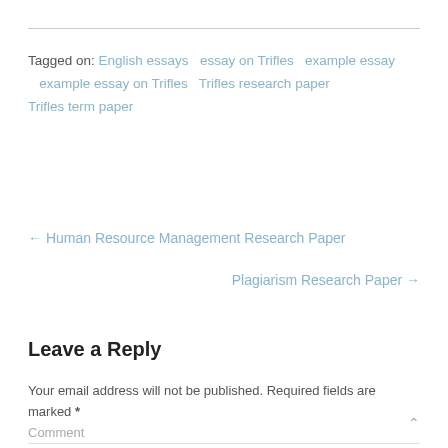Tagged on: English essays   essay on Trifles   example essay   example essay on Trifles   Trifles research paper   Trifles term paper
← Human Resource Management Research Paper
Plagiarism Research Paper →
Leave a Reply
Your email address will not be published. Required fields are marked *
Comment